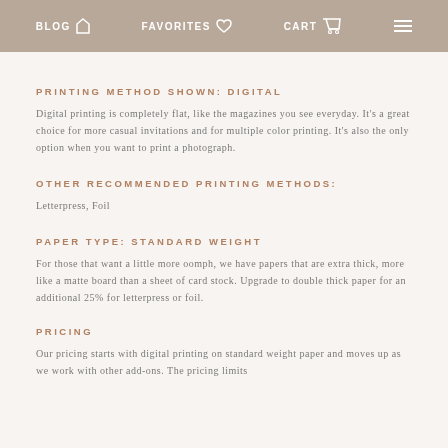BLOG  FAVORITES  CART
PRINTING METHOD SHOWN: DIGITAL
Digital printing is completely flat, like the magazines you see everyday. It's a great choice for more casual invitations and for multiple color printing. It's also the only option when you want to print a photograph.
OTHER RECOMMENDED PRINTING METHODS:
Letterpress, Foil
PAPER TYPE: STANDARD WEIGHT
For those that want a little more oomph, we have papers that are extra thick, more like a matte board than a sheet of card stock. Upgrade to double thick paper for an additional 25% for letterpress or foil.
PRICING
Our pricing starts with digital printing on standard weight paper and moves up as we work with other add-ons. The pricing limits